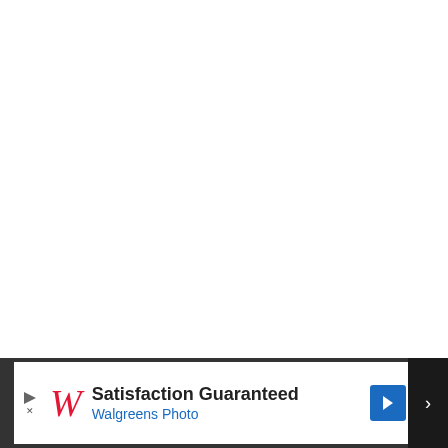fect, and the television series, True Blood, the good-
[Figure (screenshot): Walgreens advertisement banner: 'Satisfaction Guaranteed - Walgreens Photo' with Walgreens logo W and a blue navigation diamond arrow icon]